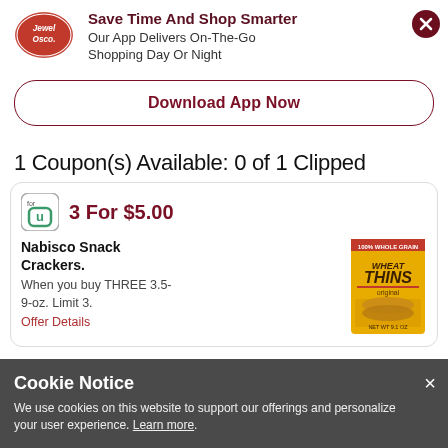[Figure (logo): Jewel-Osco oval logo in red with white text]
Save Time And Shop Smarter
Our App Delivers On-The-Go Shopping Day Or Night
Download App Now
1 Coupon(s) Available: 0 of 1 Clipped
3 For $5.00
Nabisco Snack Crackers.
When you buy THREE 3.5-9-oz. Limit 3.
Offer Details
[Figure (photo): Wheat Thins crackers box product image]
Cookie Notice
We use cookies on this website to support our offerings and personalize your user experience. Learn more.